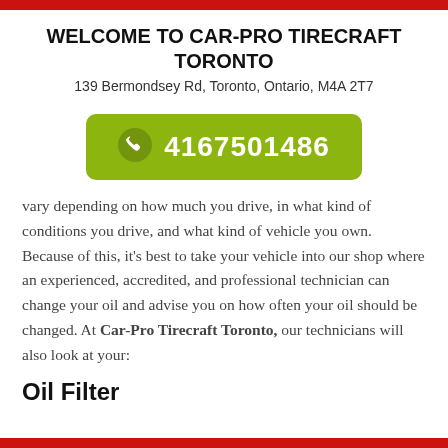WELCOME TO CAR-PRO TIRECRAFT TORONTO
139 Bermondsey Rd, Toronto, Ontario, M4A 2T7
[Figure (other): Green pill-shaped phone button with phone icon and number 4167501486]
vary depending on how much you drive, in what kind of conditions you drive, and what kind of vehicle you own. Because of this, it's best to take your vehicle into our shop where an experienced, accredited, and professional technician can change your oil and advise you on how often your oil should be changed. At Car-Pro Tirecraft Toronto, our technicians will also look at your:
Oil Filter